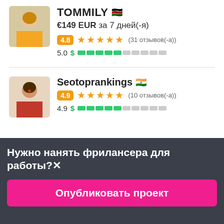TOMMILY 🇰🇪
€149 EUR за 7 дней(-я)
4.8 ★★★★★ (31 отзывов(-а))
5.0 $ ████░░░░░░
Seotoprankings 🇮🇳
4.9 ★★★★★ (10 отзывов(-а))
4.9 $ ████░░░░░░
Нужно нанять фрилансера для работы?✕
Опубликовать проект